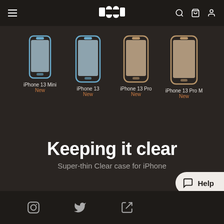Dodo — navigation bar with hamburger menu, logo, search, bag, account icons
[Figure (illustration): Four iPhone 13 models shown as flat illustrations: iPhone 13 Mini (blue), iPhone 13 (blue), iPhone 13 Pro (tan/gold), iPhone 13 Pro Max (tan/gold), each labeled with name and 'New' in orange below]
Keeping it clear
Super-thin Clear case for iPhone
Instagram icon, Twitter icon, share icon, Help button